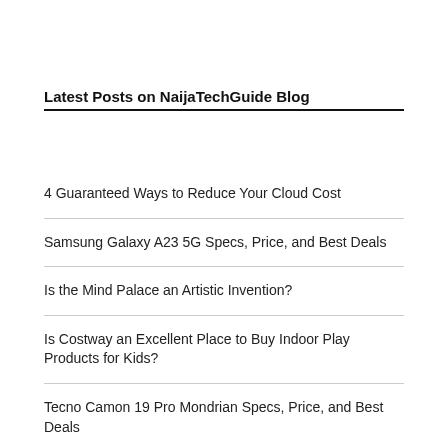Latest Posts on NaijaTechGuide Blog
4 Guaranteed Ways to Reduce Your Cloud Cost
Samsung Galaxy A23 5G Specs, Price, and Best Deals
Is the Mind Palace an Artistic Invention?
Is Costway an Excellent Place to Buy Indoor Play Products for Kids?
Tecno Camon 19 Pro Mondrian Specs, Price, and Best Deals